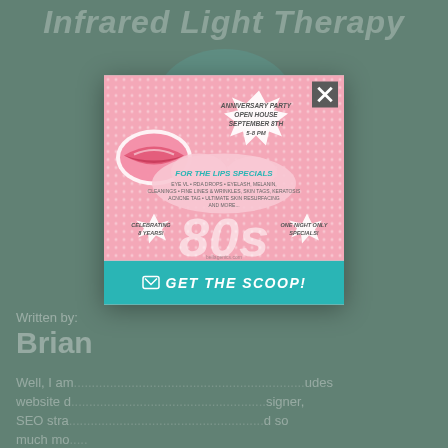Infrared Light Therapy
[Figure (photo): Person wearing teal helmet with ear pieces and glasses, background webpage content]
Written by:
Brian
Well, I am... includes website d... esigner, SEO stra... nd so much mo...
bellagen...
[Figure (infographic): Pop-up modal with pink dotted background featuring anniversary party flyer. Contains spiky speech bubble with 'ANNIVERSARY PARTY OPEN HOUSE SEPTEMBER 8TH 5-8 PM', lips graphic, pink text 'FOR THE LIPS SPECIALS' with treatment list, 'CELEBRATING 8 YEARS!' text, large '80s' text, 'ONE NIGHT ONLY SPECIALS!' text, close X button, and teal CTA button 'GET THE SCOOP!']